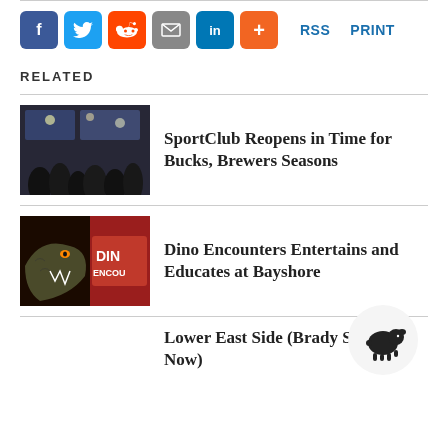[Figure (infographic): Social share buttons: Facebook (blue), Twitter (light blue), Reddit (orange), Email (gray), LinkedIn (dark blue), Plus (orange), RSS and PRINT links in blue]
RELATED
[Figure (photo): Indoor sports bar scene with crowd and screens]
SportClub Reopens in Time for Bucks, Brewers Seasons
[Figure (photo): Dinosaur encounter exhibit with T-Rex and DIN ENCOU signage]
Dino Encounters Entertains and Educates at Bayshore
Lower East Side (Brady Street Now)
[Figure (illustration): Black sheep icon in a white circle badge]